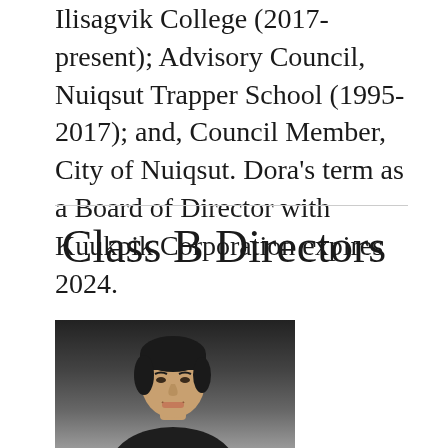Ilisagvik College (2017-present); Advisory Council, Nuiqsut Trapper School (1995-2017); and, Council Member, City of Nuiqsut. Dora's term as a Board of Director with Kuukpik Corporation expires 2024.
Class B Directors
[Figure (photo): Headshot portrait of a man with dark hair, smiling, against a dark gradient background]